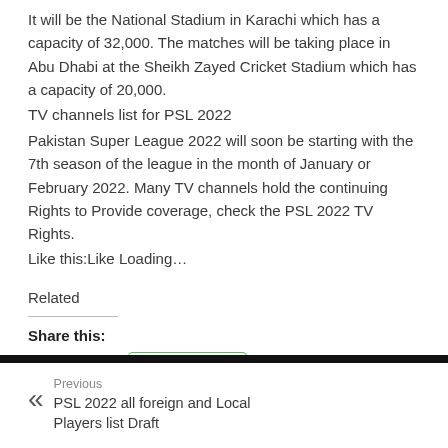It will be the National Stadium in Karachi which has a capacity of 32,000. The matches will be taking place in Abu Dhabi at the Sheikh Zayed Cricket Stadium which has a capacity of 20,000.
TV channels list for PSL 2022
Pakistan Super League 2022 will soon be starting with the 7th season of the league in the month of January or February 2022. Many TV channels hold the continuing Rights to Provide coverage, check the PSL 2022 TV Rights.
Like this:Like Loading…
Related
Share this:
Tweet
WhatsApp
Previous
PSL 2022 all foreign and Local Players list Draft
Next